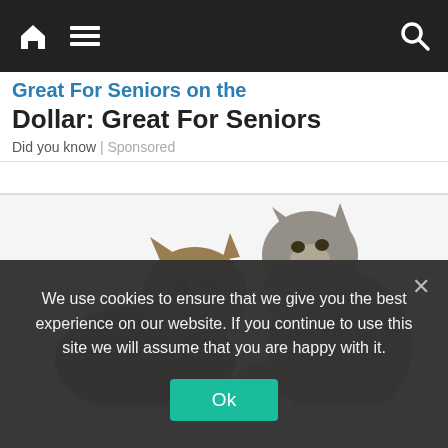Navigation bar with home, menu, and search icons
Dollar: Great For Seniors
Did you know | Sponsored
[Figure (photo): Two tabby cats facing each other in a fighting/playing pose on a white background. The left cat is crouching and swiping, the right cat is rearing up with a raised paw.]
We use cookies to ensure that we give you the best experience on our website. If you continue to use this site we will assume that you are happy with it.